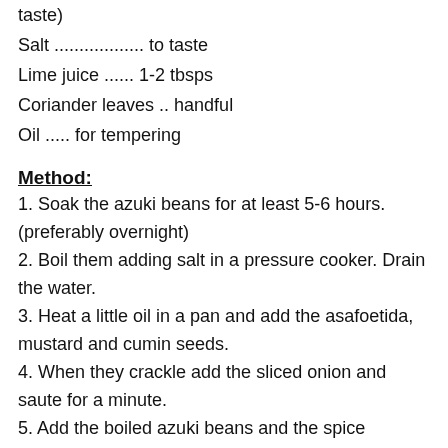taste)
Salt .................. to taste
Lime juice ...... 1-2 tbsps
Coriander leaves .. handful
Oil ..... for tempering
Method:
1. Soak the azuki beans for at least 5-6 hours. (preferably overnight)
2. Boil them adding salt in a pressure cooker. Drain the water.
3. Heat a little oil in a pan and add the asafoetida, mustard and cumin seeds.
4. When they crackle add the sliced onion and saute for a minute.
5. Add the boiled azuki beans and the spice powders.Check the salt and add if needed.
6. Add the lime juice and coriander leaves.
It can be served as a side dish with rotis or cold like a salad.
Pin it for later